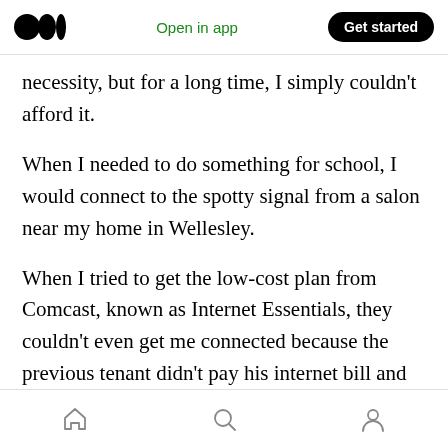Medium logo | Open in app | Get started
necessity, but for a long time, I simply couldn't afford it.
When I needed to do something for school, I would connect to the spotty signal from a salon near my home in Wellesley.
When I tried to get the low-cost plan from Comcast, known as Internet Essentials, they couldn't even get me connected because the previous tenant didn't pay his internet bill and was still listed on my address.
Home | Search | Profile